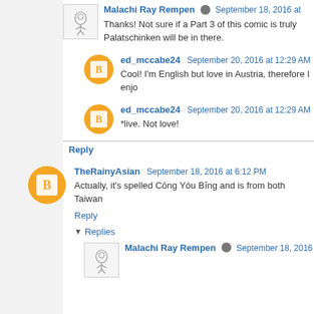Malachi Ray Rempen · September 18, 2016 at
Thanks! Not sure if a Part 3 of this comic is truly Palatschinken will be in there.
ed_mccabe24 September 20, 2016 at 12:29 AM
Cool! I'm English but love in Austria, therefore I enjo
ed_mccabe24 September 20, 2016 at 12:29 AM
*live. Not love!
Reply
TheRainyAsian September 18, 2016 at 6:12 PM
Actually, it's spelled Cōng Yóu Bǐng and is from both Taiwan
Reply
▼ Replies
Malachi Ray Rempen · September 18, 2016 at